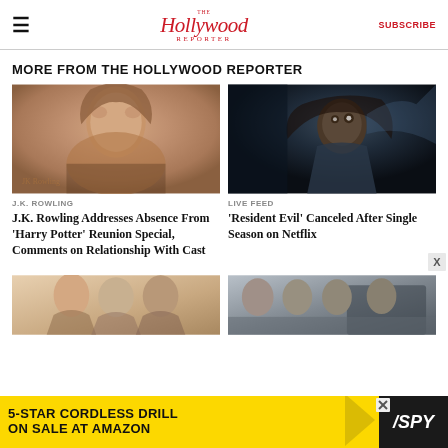The Hollywood Reporter — SUBSCRIBE
MORE FROM THE HOLLYWOOD REPORTER
[Figure (photo): Portrait photo of J.K. Rowling at an event]
J.K. ROWLING
J.K. Rowling Addresses Absence From 'Harry Potter' Reunion Special, Comments on Relationship With Cast
[Figure (photo): Dramatic horror scene from Resident Evil Netflix series — woman looking upward in fear]
LIVE FEED
'Resident Evil' Canceled After Single Season on Netflix
[Figure (photo): Group of people — partial bottom row image]
[Figure (photo): Group of men standing outdoors — partial bottom row image]
[Figure (photo): Advertisement: 5-Star Cordless Drill On Sale at Amazon — SPY]